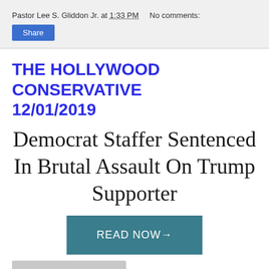Pastor Lee S. Gliddon Jr. at 1:33 PM   No comments:
Share
THE HOLLYWOOD CONSERVATIVE 12/01/2019
Democrat Staffer Sentenced In Brutal Assault On Trump Supporter
READ NOW→
[Figure (photo): Partial photo of a person, cropped at bottom of page]